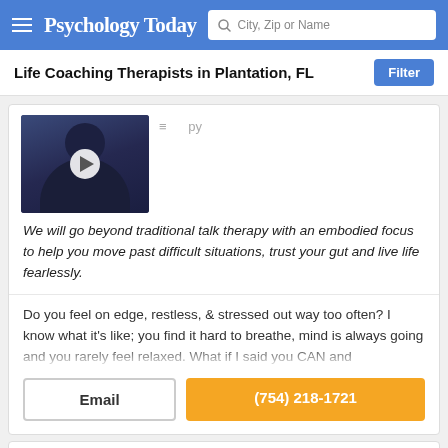Psychology Today — City, Zip or Name search
Life Coaching Therapists in Plantation, FL
[Figure (photo): Therapist profile photo with video play button overlay, person wearing dark navy top outdoors]
We will go beyond traditional talk therapy with an embodied focus to help you move past difficult situations, trust your gut and live life fearlessly.
Do you feel on edge, restless, & stressed out way too often? I know what it's like; you find it hard to breathe, mind is always going and you rarely feel relaxed. What if I said you CAN and
Email
(754) 218-1721
Cindy Bunin
Marriage & Family Therapist, EdD, LMFT